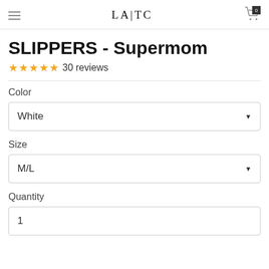LA|TC
SLIPPERS - Supermom
★★★★★ 30 reviews
Color
White
Size
M/L
Quantity
1